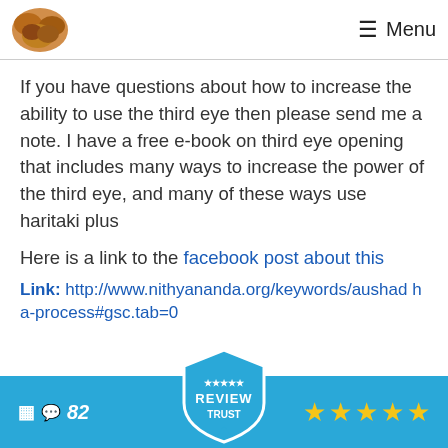Menu
If you have questions about how to increase the ability to use the third eye then please send me a note. I have a free e-book on third eye opening that includes many ways to increase the power of the third eye, and many of these ways use haritaki plus
Here is a link to the facebook post about this
Link: http://www.nithyananda.org/keywords/aushad ha-process#gsc.tab=0
[Figure (screenshot): Review Trust badge overlay with star rating and comment count 82]